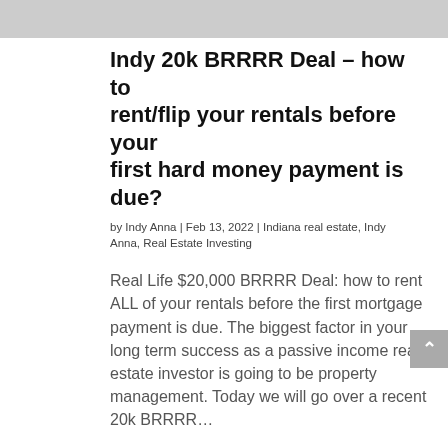[Figure (photo): Partial view of a person, cropped at top of page]
Indy 20k BRRRR Deal – how to rent/flip your rentals before your first hard money payment is due?
by Indy Anna | Feb 13, 2022 | Indiana real estate, Indy Anna, Real Estate Investing
Real Life $20,000 BRRRR Deal: how to rent ALL of your rentals before the first mortgage payment is due.  The biggest factor in your long term success as a passive income real estate investor is going to be property management. Today we will go over a recent 20k BRRRR…